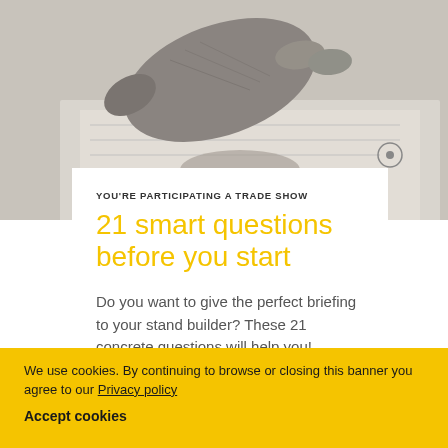[Figure (photo): Photo of hands wearing grey woolen gloves reviewing blueprints or documents on a table]
YOU'RE PARTICIPATING A TRADE SHOW
21 smart questions before you start
Do you want to give the perfect briefing to your stand builder? These 21 concrete questions will help you!
We use cookies. By continuing to browse or closing this banner you agree to our Privacy policy
Accept cookies